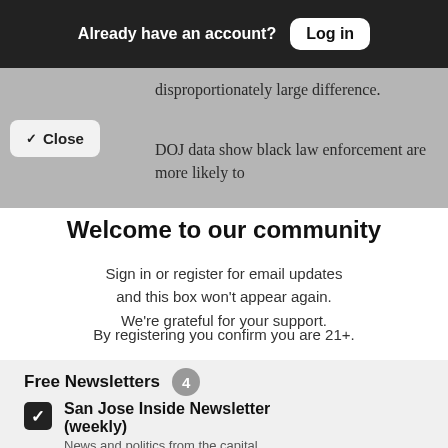Already have an account? Log in
disproportionately large difference.
DOJ data show black law enforcement are more likely to
Close
Welcome to our community
Sign in or register for email updates and this box won't appear again. We're grateful for your support.
By registering you confirm you are 21+.
Free Newsletters 4
San Jose Inside Newsletter (weekly)
News and politics from the capital